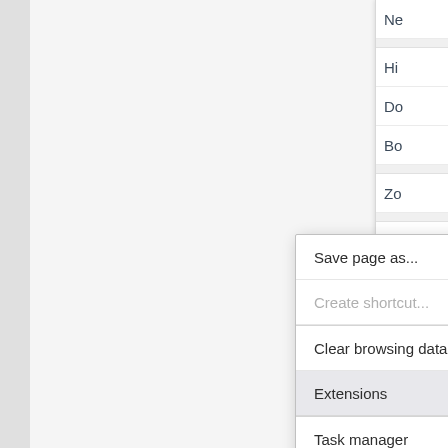[Figure (screenshot): Chrome browser context menu (right-click menu) showing options: Save page as... Ctrl+S, Create shortcut... (disabled), Clear browsing data... Ctrl+Shift+Del, Extensions (highlighted), Task manager Shift+Esc, Developer tools Ctrl+Shift+I. A partially visible browser menu on the right side shows truncated items: Ne, Hi, Do, Bo, Zo, Pri, Ca, Fin, Mo (highlighted), Ed, Se, He, Ex.]